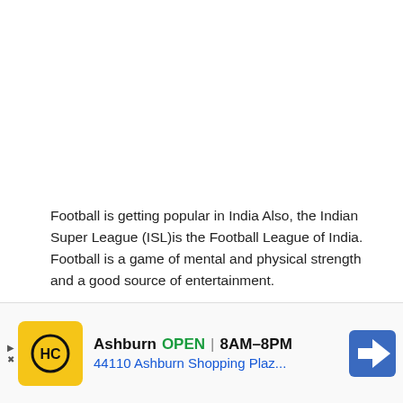Football is getting popular in India Also, the Indian Super League (ISL)is the Football League of India. Football is a game of mental and physical strength and a good source of entertainment.
[Figure (other): Advertisement banner for a local business: HC logo (yellow background with black HC emblem), business name 'Ashburn', status 'OPEN', hours '8AM-8PM', address '44110 Ashburn Shopping Plaz...', navigation arrow icon on the right.]